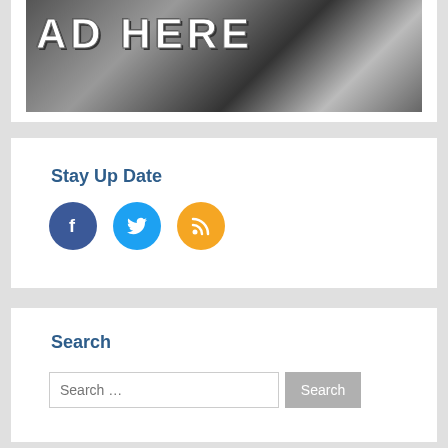[Figure (photo): Black and white photo of a keyboard/piano keys with large white bold text 'AD HERE' overlaid on top]
Stay Up Date
[Figure (infographic): Three social media icon circles: Facebook (dark blue with f icon), Twitter (light blue with bird icon), RSS feed (orange with wifi/rss icon)]
Search
[Figure (screenshot): Search input box with placeholder text 'Search ...' and a grey Search button]